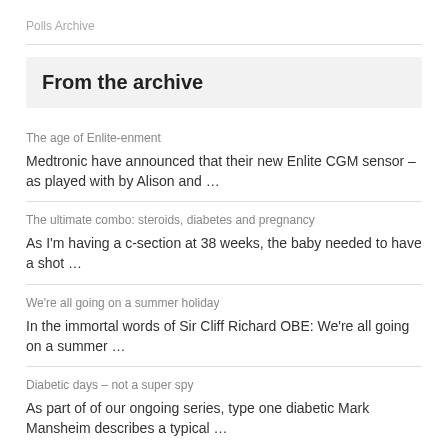Polls Archive
From the archive
The age of Enlite-enment
Medtronic have announced that their new Enlite CGM sensor – as played with by Alison and …
The ultimate combo: steroids, diabetes and pregnancy
As I'm having a c-section at 38 weeks, the baby needed to have a shot …
We're all going on a summer holiday
In the immortal words of Sir Cliff Richard OBE: We're all going on a summer …
Diabetic days – not a super spy
As part of of our ongoing series, type one diabetic Mark Mansheim describes a typical …